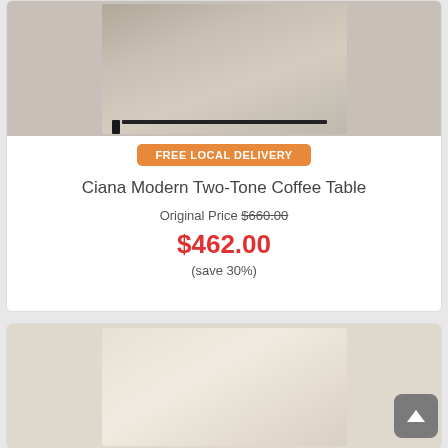[Figure (photo): Coffee table with black frame on a rug, partially visible at top of first product card]
FREE LOCAL DELIVERY
Ciana Modern Two-Tone Coffee Table
Original Price $660.00
$462.00
(save 30%)
[Figure (photo): Modern glass coffee table in a living room setting with a plant, partially visible at bottom of second product card]